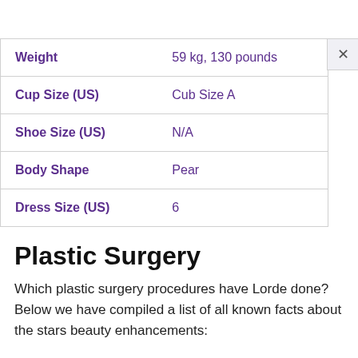| Attribute | Value |
| --- | --- |
| Weight | 59 kg, 130 pounds |
| Cup Size (US) | Cub Size A |
| Shoe Size (US) | N/A |
| Body Shape | Pear |
| Dress Size (US) | 6 |
Plastic Surgery
Which plastic surgery procedures have Lorde done? Below we have compiled a list of all known facts about the stars beauty enhancements: